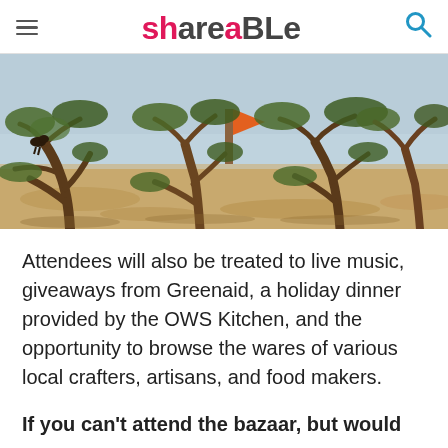Shareable
[Figure (photo): Outdoor landscape photo showing arid scrubland with twisted, low-branching trees (likely argan trees) under a blue sky. A dark bird or goat is visible perched in the left tree. Dry sandy ground with sparse vegetation.]
Attendees will also be treated to live music, giveaways from Greenaid, a holiday dinner provided by the OWS Kitchen, and the opportunity to browse the wares of various local crafters, artisans, and food makers.
If you can't attend the bazaar, but would